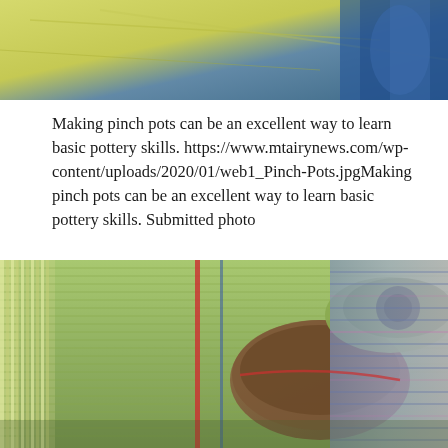[Figure (photo): Top portion of a photo showing hands working with clay/pottery on a yellow surface with blue sleeve visible]
Making pinch pots can be an excellent way to learn basic pottery skills. https://www.mtairynews.com/wp-content/uploads/2020/01/web1_Pinch-Pots.jpgMaking pinch pots can be an excellent way to learn basic pottery skills. Submitted photo
[Figure (photo): Close-up photo of colorful woven textile rugs rolled up, showing green, red, blue and multicolored woven fabric patterns]